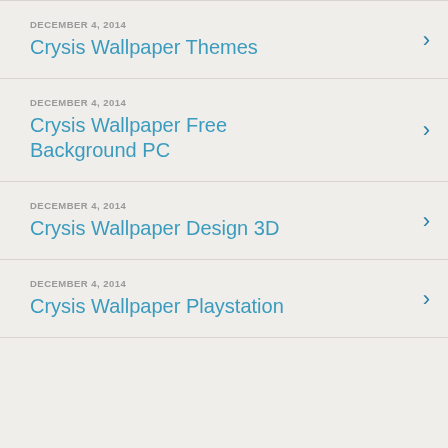DECEMBER 4, 2014
Crysis Wallpaper Themes
DECEMBER 4, 2014
Crysis Wallpaper Free Background PC
DECEMBER 4, 2014
Crysis Wallpaper Design 3D
DECEMBER 4, 2014
Crysis Wallpaper Playstation